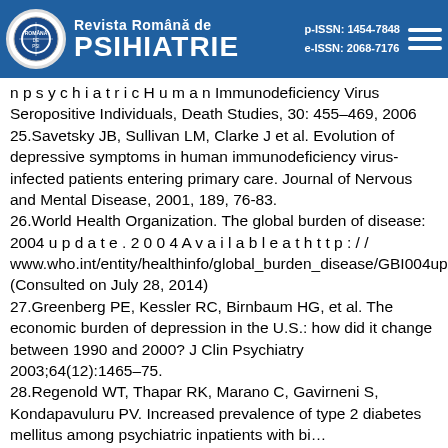Revista Română de PSIHIATRIE | p-ISSN: 1454-7848 | e-ISSN: 2068-7176
n p s y c h i a t r i c H u m a n Immunodeficiency Virus Seropositive Individuals, Death Studies, 30: 455–469, 2006
25.Savetsky JB, Sullivan LM, Clarke J et al. Evolution of depressive symptoms in human immunodeficiency virus-infected patients entering primary care. Journal of Nervous and Mental Disease, 2001, 189, 76-83.
26.World Health Organization. The global burden of disease: 2004 u p d a t e . 2 0 0 4 A v a i l a b l e a t h t t p : / / www.who.int/entity/healthinfo/global_burden_disease/GBI004update_full.pdf (Consulted on July 28, 2014)
27.Greenberg PE, Kessler RC, Birnbaum HG, et al. The economic burden of depression in the U.S.: how did it change between 1990 and 2000? J Clin Psychiatry 2003;64(12):1465–75.
28.Regenold WT, Thapar RK, Marano C, Gavirneni S, Kondapavuluru PV. Increased prevalence of type 2 diabetes mellitus among psychiatric inpatients with bi...